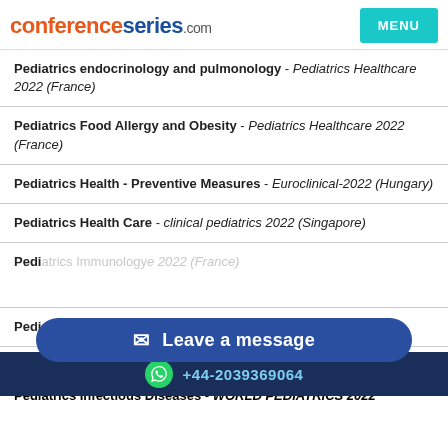conferenceseries.com | MENU
Pediatrics endocrinology and pulmonology - Pediatrics Healthcare 2022 (France)
Pediatrics Food Allergy and Obesity - Pediatrics Healthcare 2022 (France)
Pediatrics Health - Preventive Measures - Euroclinical-2022 (Hungary)
Pediatrics Health Care - clinical pediatrics 2022 (Singapore)
Pedi[Leave a message overlay]e 2022 (France)
Pediatrics Hepatology - Pediatrics Healthcare 2022 (France)
Pediatrics Infections and Antibiotics - Pediatrics Healthcare 2022 (France)
[Figure (other): Leave a message button overlay in dark blue pill shape with envelope icon]
+44-2039369064 WhatsApp footer bar
Pediatrics Infectious Diseases - WORLD PEDIATRICS 2022